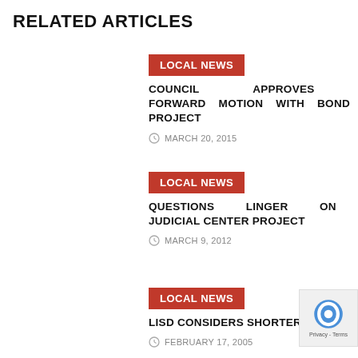RELATED ARTICLES
LOCAL NEWS
COUNCIL APPROVES FORWARD MOTION WITH BOND PROJECT
MARCH 20, 2015
LOCAL NEWS
QUESTIONS LINGER ON JUDICIAL CENTER PROJECT
MARCH 9, 2012
LOCAL NEWS
LISD CONSIDERS SHORTER YE
FEBRUARY 17, 2005